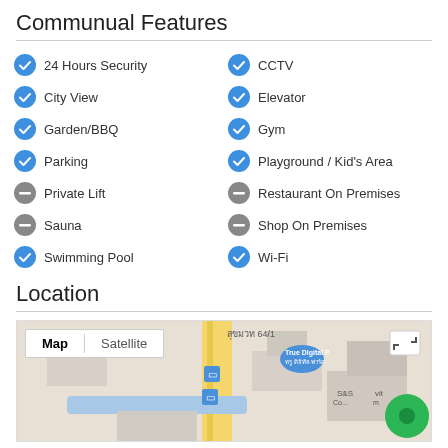Communual Features
24 Hours Security
CCTV
City View
Elevator
Garden/BBQ
Gym
Parking
Playground / Kid's Area
Private Lift
Restaurant On Premises
Sauna
Shop On Premises
Swimming Pool
Wi-Fi
Location
[Figure (map): Google Map showing area around สุขมวท 64/1 with True Digital Park marker, S&S Co., map/satellite toggle buttons, and a green location marker dot.]